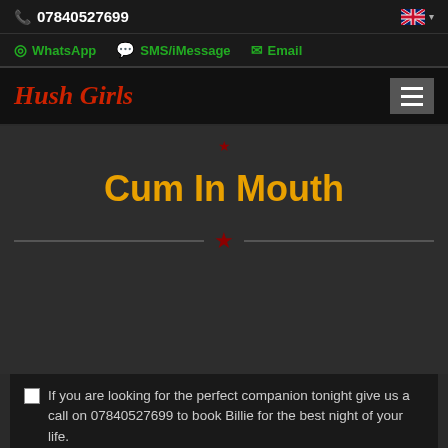07840527699
WhatsApp  SMS/iMessage  Email
Hush Girls
Cum In Mouth
If you are looking for the perfect companion tonight give us a call on 07840527699 to book Billie for the best night of your life.